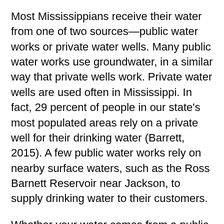Most Mississippians receive their water from one of two sources—public water works or private water wells. Many public water works use groundwater, in a similar way that private wells work. Private water wells are used often in Mississippi. In fact, 29 percent of people in our state's most populated areas rely on a private well for their drinking water (Barrett, 2015). A few public water works rely on nearby surface waters, such as the Ross Barnett Reservoir near Jackson, to supply drinking water to their customers.
Whether your water comes from a public or private source, there are some basic indicators that your water is safe for consumption (Table 1). You should also note that, if your water comes from a public source, it will be treated and tested following federal and state regulations. Public water systems must notify the public of any violations of water quality standards, so it is not common to have a problem with water delivered from a